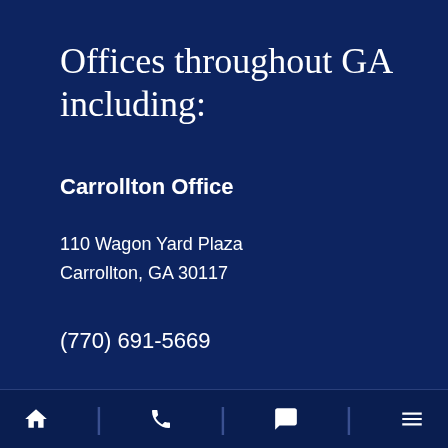Offices throughout GA including:
Carrollton Office
110 Wagon Yard Plaza
Carrollton, GA 30117
(770) 691-5669
[home icon] | [phone icon] | [chat icon] | [menu icon]